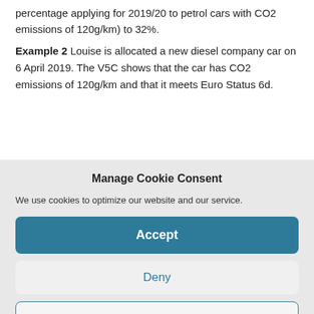percentage applying for 2019/20 to petrol cars with CO2 emissions of 120g/km) to 32%.
Example 2 Louise is allocated a new diesel company car on 6 April 2019. The V5C shows that the car has CO2 emissions of 120g/km and that it meets Euro Status 6d.
Manage Cookie Consent
We use cookies to optimize our website and our service.
Accept
Deny
Preferences